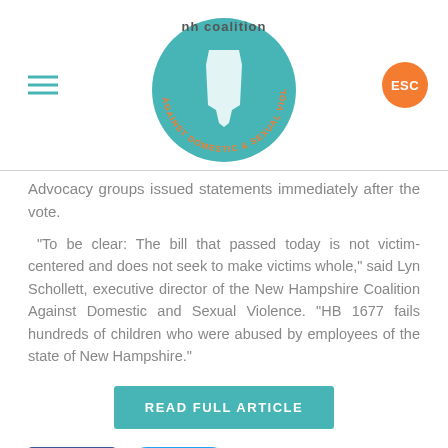[Figure (logo): NH Coalition Against Domestic & Sexual Violence circular logo with teal background and white NH state shape, surrounded by orange text]
Advocacy groups issued statements immediately after the vote.
“To be clear: The bill that passed today is not victim-centered and does not seek to make victims whole,” said Lyn Schollett, executive director of the New Hampshire Coalition Against Domestic and Sexual Violence. “HB 1677 fails hundreds of children who were abused by employees of the state of New Hampshire.”
READ FULL ARTICLE